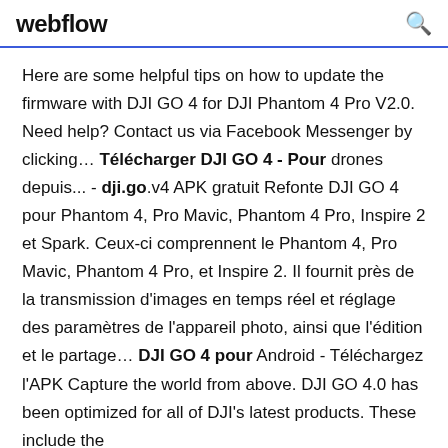webflow
Here are some helpful tips on how to update the firmware with DJI GO 4 for DJI Phantom 4 Pro V2.0. Need help? Contact us via Facebook Messenger by clicking… Télécharger DJI GO 4 - Pour drones depuis... - dji.go.v4 APK gratuit Refonte DJI GO 4 pour Phantom 4, Pro Mavic, Phantom 4 Pro, Inspire 2 et Spark. Ceux-ci comprennent le Phantom 4, Pro Mavic, Phantom 4 Pro, et Inspire 2. Il fournit près de la transmission d'images en temps réel et réglage des paramètres de l'appareil photo, ainsi que l'édition et le partage… DJI GO 4 pour Android - Téléchargez l'APK Capture the world from above. DJI GO 4.0 has been optimized for all of DJI's latest products. These include the